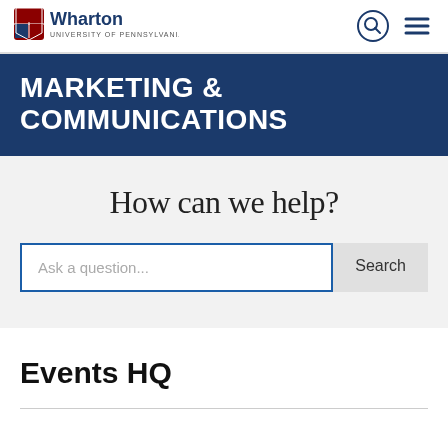[Figure (logo): Wharton University of Pennsylvania logo with shield emblem and text]
MARKETING & COMMUNICATIONS
How can we help?
Ask a question...
Search
Events HQ